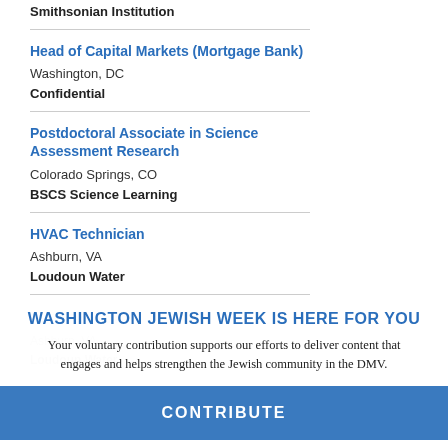Smithsonian Institution
Head of Capital Markets (Mortgage Bank)
Washington, DC
Confidential
Postdoctoral Associate in Science Assessment Research
Colorado Springs, CO
BSCS Science Learning
HVAC Technician
Ashburn, VA
Loudoun Water
WASHINGTON JEWISH WEEK IS HERE FOR YOU
Your voluntary contribution supports our efforts to deliver content that engages and helps strengthen the Jewish community in the DMV.
CONTRIBUTE